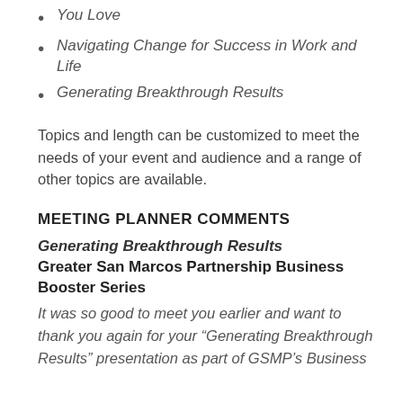You Love
Navigating Change for Success in Work and Life
Generating Breakthrough Results
Topics and length can be customized to meet the needs of your event and audience and a range of other topics are available.
MEETING PLANNER COMMENTS
Generating Breakthrough Results
Greater San Marcos Partnership Business Booster Series
It was so good to meet you earlier and want to thank you again for your “Generating Breakthrough Results” presentation as part of GSMP’s Business